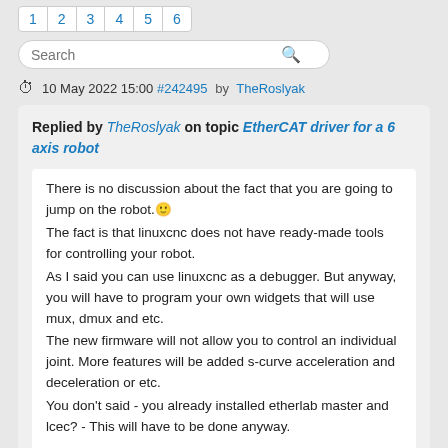1 2 3 4 5 6
Search
10 May 2022 15:00 #242495 by TheRoslyak
Replied by TheRoslyak on topic EtherCAT driver for a 6 axis robot
There is no discussion about the fact that you are going to jump on the robot.☺
The fact is that linuxcnc does not have ready-made tools for controlling your robot.
As I said you can use linuxcnc as a debugger. But anyway, you will have to program your own widgets that will use mux, dmux and etc.
The new firmware will not allow you to control an individual joint. More features will be added s-curve acceleration and deceleration or etc.
You don't said - you already installed etherlab master and lcec? - This will have to be done anyway.